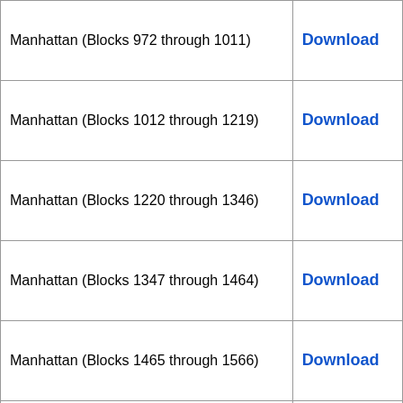| Description | Link |
| --- | --- |
| Manhattan (Blocks 972 through 1011) | Download |
| Manhattan (Blocks 1012 through 1219) | Download |
| Manhattan (Blocks 1220 through 1346) | Download |
| Manhattan (Blocks 1347 through 1464) | Download |
| Manhattan (Blocks 1465 through 1566) | Download |
| Manhattan (Blocks 1567 through 82293) | Download |
| Bronx (Blocks 2260 through 3944) | Download |
| Bronx (Blocks 3944 through 70022) | Download |
| Brooklyn (Blocks 1 through 6749) | Download |
| Brooklyn (Blocks 6750 through 82005) | Download |